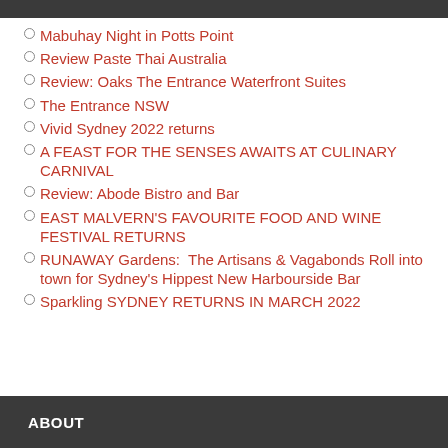Mabuhay Night in Potts Point
Review Paste Thai Australia
Review: Oaks The Entrance Waterfront Suites
The Entrance NSW
Vivid Sydney 2022 returns
A FEAST FOR THE SENSES AWAITS AT CULINARY CARNIVAL
Review: Abode Bistro and Bar
EAST MALVERN'S FAVOURITE FOOD AND WINE FESTIVAL RETURNS
RUNAWAY Gardens:  The Artisans & Vagabonds Roll into town for Sydney's Hippest New Harbourside Bar
Sparkling SYDNEY RETURNS IN MARCH 2022
ABOUT